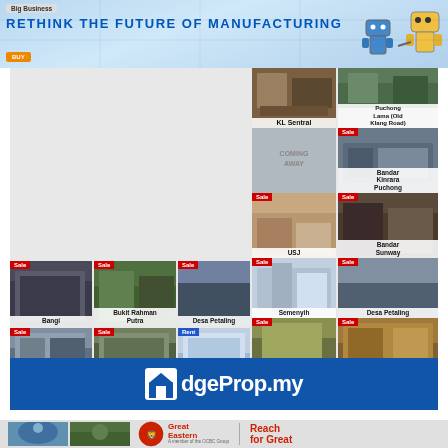[Figure (infographic): Top banner ad: 'Rethink the Future of Manufacturing' with blue gradient background, manufacturing robot icons on right, logo top-left, orange CTA button]
[Figure (infographic): EdgeProp.my property listing grid showing multiple property cards with Sale/Rent badges and location names: KL Sentral, Puchong/Old Klang Road, Bandar Kinrara Puchong, USJ, Bandar Sunway, Semenyih, Desa Petaling, Bangi, Bukit Rahman Putra, Desa Petaling, Petaling Jaya, Semenyih, Bangi, Batu 9th Cheras, KL Sentral, Semenyih, Cheras]
[Figure (logo): EdgeProp.my logo bar - blue background with white house icon and EdgeProp.my text]
[Figure (infographic): Bottom banner ad: Great Eastern insurance - two photos of people (gymnast, man in nature), Great Eastern lion logo with 'Reach for Great' tagline]